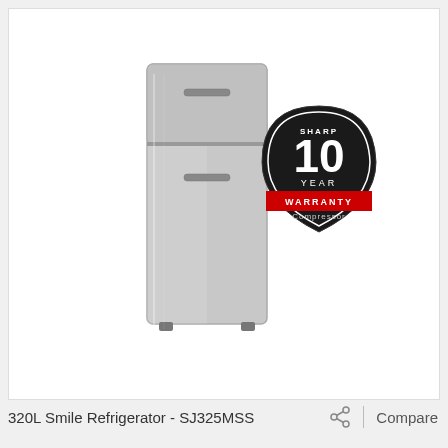[Figure (photo): Silver Sharp double-door refrigerator (320L, model SJ325MSS) with a 10 Year Warranty Compressor badge overlaid in the upper right area of the refrigerator image]
320L Smile Refrigerator - SJ325MSS
Compare